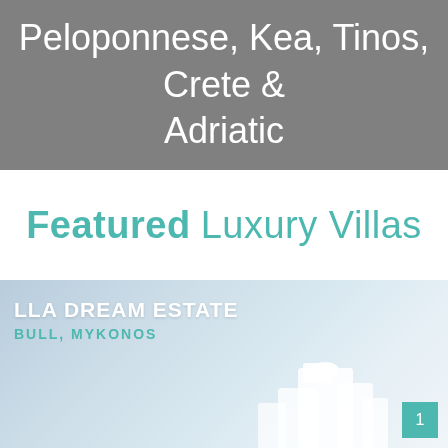Peloponnese, Kea, Tinos, Crete & Adriatic
Featured Luxury Villas
[Figure (photo): Luxury villa on Mykonos with white cubic architecture against a pale blue sky and sea background. Text overlay shows 'VILLA DREAM ESTATE' and 'BULI, MYKONOS' with a teal page number '1' in bottom right corner.]